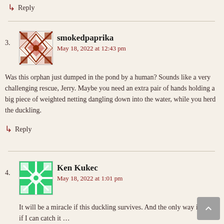↳ Reply
3. smokedpaprika
May 18, 2022 at 12:43 pm

Was this orphan just dumped in the pond by a human? Sounds like a very challenging rescue, Jerry. Maybe you need an extra pair of hands holding a big piece of weighted netting dangling down into the water, while you herd the duckling.
↳ Reply
4. Ken Kukec
May 18, 2022 at 1:01 pm

It will be a miracle if this duckling survives. And the only way it will is if I can catch it …